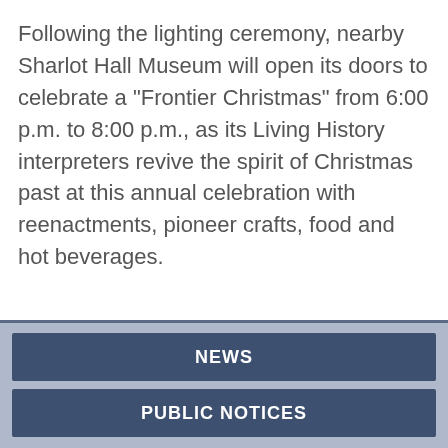Following the lighting ceremony, nearby Sharlot Hall Museum will open its doors to celebrate a "Frontier Christmas" from 6:00 p.m. to 8:00 p.m., as its Living History interpreters revive the spirit of Christmas past at this annual celebration with reenactments, pioneer crafts, food and hot beverages.
NEWS
PUBLIC NOTICES